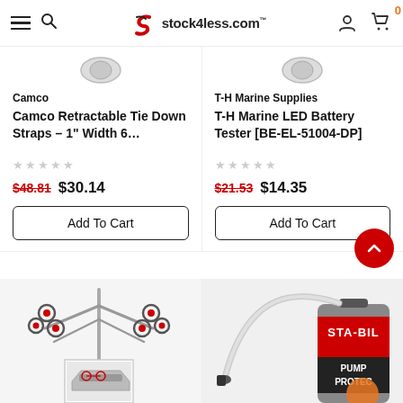stock4less.com
Camco
Camco Retractable Tie Down Straps – 1" Width 6…
$48.81  $30.14
Add To Cart
T-H Marine Supplies
T-H Marine LED Battery Tester [BE-EL-51004-DP]
$21.53  $14.35
Add To Cart
[Figure (photo): Bike rack product image – multi-bike hitch rack with smaller inset image of bike on car]
[Figure (photo): STA-BIL Pump Protect spray can with hose attachment]